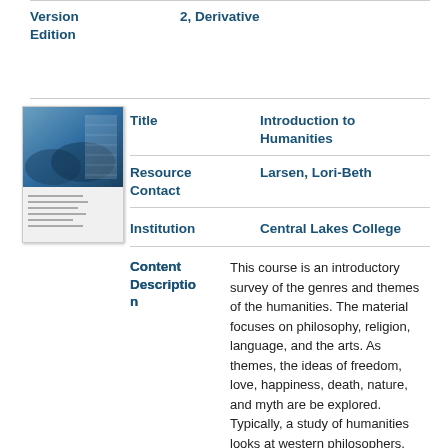| Field | Value |
| --- | --- |
| Version Edition | 2, Derivative |
| Title | Introduction to Humanities |
| Resource Contact | Larsen, Lori-Beth |
| Institution | Central Lakes College |
| Content Description | This course is an introductory survey of the genres and themes of the humanities. The material focuses on philosophy, religion, language, and the arts. As themes, the ideas of freedom, love, happiness, death, nature, and myth are be explored. Typically, a study of humanities looks at western philosophers, maybe a few of the world religions, a history of western music and western visual arts. This textbook begins to break |